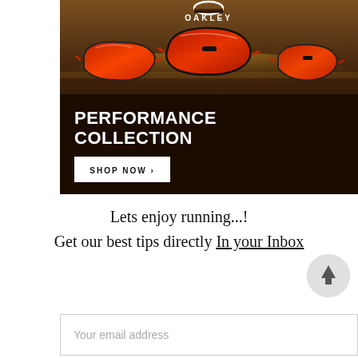[Figure (photo): Oakley advertisement showing three pairs of sport sunglasses with red lenses on a dark brown/golden background. White Oakley logo at top. Bold white text reads PERFORMANCE COLLECTION with a white SHOP NOW button with arrow.]
Lets enjoy running...!
Get our best tips directly In your Inbox
[Figure (other): Circular back-to-top button with upward arrow icon]
Your email address